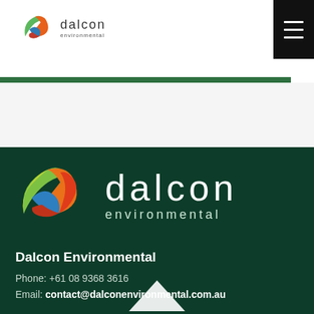[Figure (logo): Dalcon Environmental logo in header - small version with colorful swirl icon and 'dalcon environmental' text in dark grey]
[Figure (other): Hamburger menu icon (three white horizontal lines) on black square background, top-right corner]
[Figure (logo): Dalcon Environmental large logo on dark green background - large colorful swirl icon with 'dalcon' in large white letters and 'environmental' below]
Dalcon Environmental
Phone: +61 08 9368 3616
Email: contact@dalconenvironmental.com.au